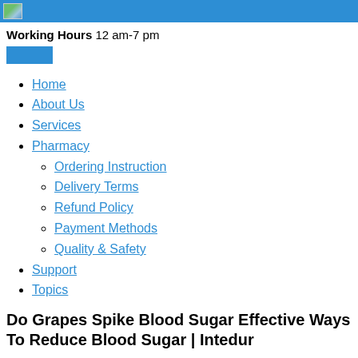Working Hours 12 am-7 pm
Home
About Us
Services
Pharmacy
Ordering Instruction
Delivery Terms
Refund Policy
Payment Methods
Quality & Safety
Support
Topics
Do Grapes Spike Blood Sugar Effective Ways To Reduce Blood Sugar | Intedur
mango increase blood sugar Role Of Blood Sugar Monitoring In Type 1 Diabetes, 2022-02-03 Acv For High Blood Sugar do grapes spike blood sugar Diabetic Type 1 Blood Sugar 95.
All you need to do is to try to remember, and then .